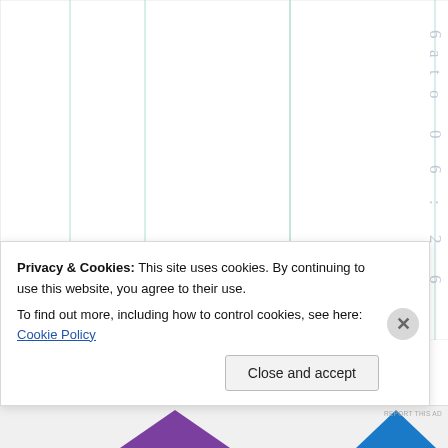[Figure (other): Partial view of a web page showing a table or chart with vertical column lines and light teal/green vertical grid lines. Right margin shows rotated text '6ato06:26' in light gray. Below that, 'Doe' text appears in dark blue rotated vertically.]
Privacy & Cookies: This site uses cookies. By continuing to use this website, you agree to their use. To find out more, including how to control cookies, see here: Cookie Policy
Close and accept